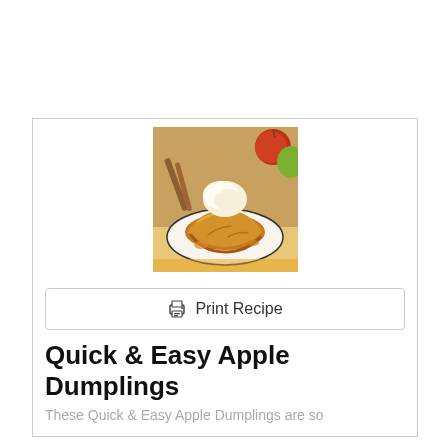[Figure (photo): Apple dumpling on a white plate topped with a scoop of vanilla ice cream, with apples and cinnamon sticks visible in background]
Print Recipe
Quick & Easy Apple Dumplings
These Quick & Easy Apple Dumplings are so